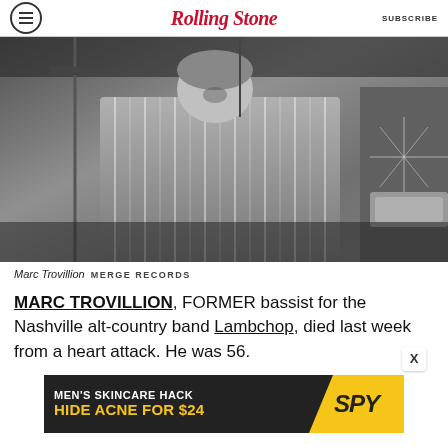Rolling Stone   SUBSCRIBE
[Figure (photo): Black and white photo of Marc Trovillion playing bass at a concert, wearing a striped shirt, with a drummer visible in the background on the right.]
Marc Trovillion  MERGE RECORDS
MARC TROVILLION, FORMER bassist for the Nashville alt-country band Lambchop, died last week from a heart attack. He was 56.
[Figure (other): Advertisement banner: MEN'S SKINCARE HACK HIDE ACNE FOR $24 with SPY logo]